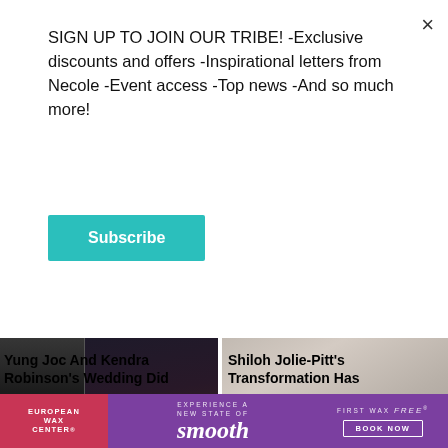SIGN UP TO JOIN OUR TRIBE! -Exclusive discounts and offers -Inspirational letters from Necole -Event access -Top news -And so much more!
Subscribe
[Figure (photo): Two photos side by side: man in black tuxedo on left, woman in wedding dress with floral hair piece holding bouquet on right]
[Figure (photo): Close-up portrait of young blonde woman with blue-green eyes and natural makeup against light background]
Yung Joc And Kendra Robinson's Wedding Did
Shiloh Jolie-Pitt's Transformation Has
[Figure (infographic): European Wax Center advertisement banner with purple and red background showing 'EXPERIENCE A NEW STATE OF smooth - FIRST WAX free - BOOK NOW']